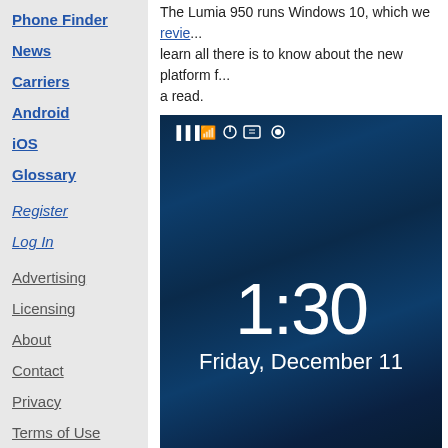Phone Finder
News
Carriers
Android
iOS
Glossary
Register
Log In
Advertising
Licensing
About
Contact
Privacy
Terms of Use
The Lumia 950 runs Windows 10, which we revie... learn all there is to know about the new platform f... a read.
[Figure (screenshot): Lumia 950 lock screen showing time 1:30, date Friday December 11, with dark blue abstract wallpaper and status bar icons at top]